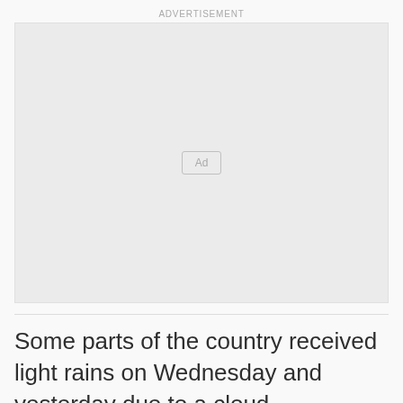ADVERTISEMENT
[Figure (other): Advertisement placeholder box with 'Ad' label button in the center]
Some parts of the country received light rains on Wednesday and yesterday due to a cloud